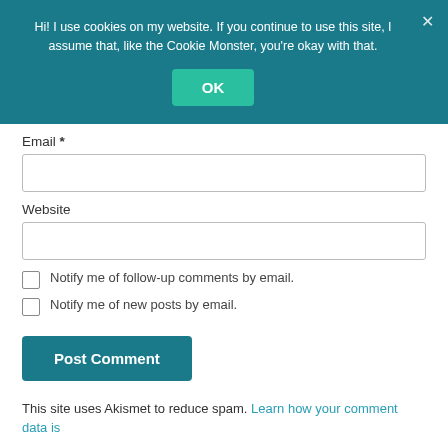Hi! I use cookies on my website. If you continue to use this site, I assume that, like the Cookie Monster, you're okay with that.
Email *
Website
Notify me of follow-up comments by email.
Notify me of new posts by email.
Post Comment
This site uses Akismet to reduce spam. Learn how your comment data is